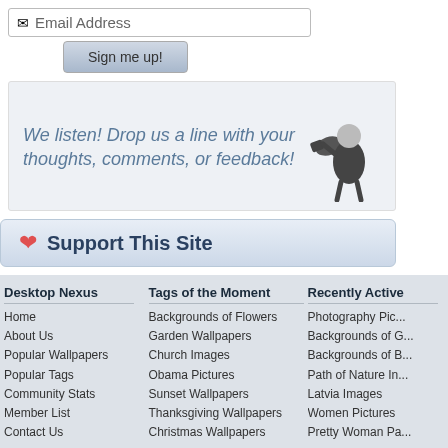Email Address
Sign me up!
We listen! Drop us a line with your thoughts, comments, or feedback!
Support This Site
Desktop Nexus
Home
About Us
Popular Wallpapers
Popular Tags
Community Stats
Member List
Contact Us
Tags of the Moment
Backgrounds of Flowers
Garden Wallpapers
Church Images
Obama Pictures
Sunset Wallpapers
Thanksgiving Wallpapers
Christmas Wallpapers
Recently Active
Photography Pic...
Backgrounds of G...
Backgrounds of B...
Path of Nature In...
Latvia Images
Women Pictures
Pretty Woman Pa...
Privacy Policy | Terms of Service | Partnerships | DMCA Copyright Violation
© Desktop Nexus - All rights reserved.
Page rendered with 6 queries (and 0 cached) in 0.09 seconds from server 35.